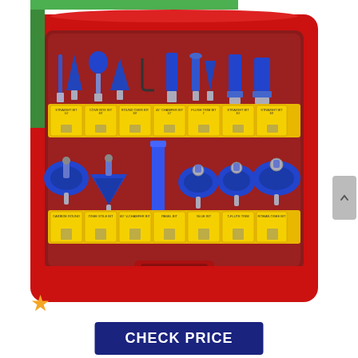[Figure (photo): A router bit set in an open red plastic carrying case. The case contains approximately 15 blue router bits arranged in two rows with yellow labeled card slots, plus additional bits along the top. A star rating icon is visible at bottom left.]
CHECK PRICE